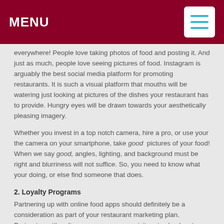MENU
everywhere! People love taking photos of food and posting it. And just as much, people love seeing pictures of food. Instagram is arguably the best social media platform for promoting restaurants. It is such a visual platform that mouths will be watering just looking at pictures of the dishes your restaurant has to provide. Hungry eyes will be drawn towards your aesthetically pleasing imagery.
Whether you invest in a top notch camera, hire a pro, or use your the camera on your smartphone, take good pictures of your food! When we say good, angles, lighting, and background must be right and blurriness will not suffice. So, you need to know what your doing, or else find someone that does.
2. Loyalty Programs
Partnering up with online food apps should definitely be a consideration as part of your restaurant marketing plan. Partnering with online apps encourages visitors to check out your restaurant through gamification and customer loyalty programs, which offer visitors a free purchase or discount for visiting a certain number of times.